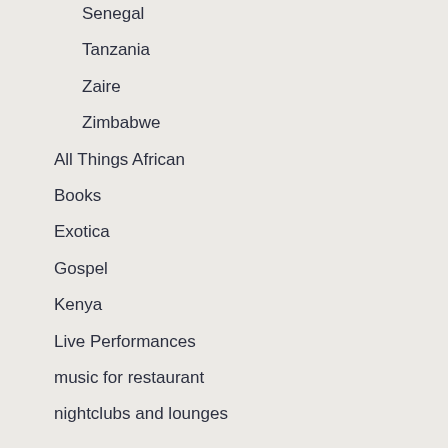Senegal
Tanzania
Zaire
Zimbabwe
All Things African
Books
Exotica
Gospel
Kenya
Live Performances
music for restaurant
nightclubs and lounges